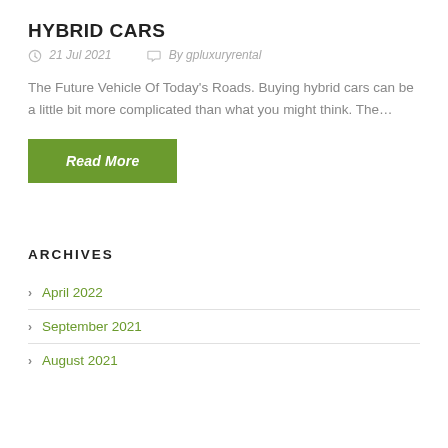HYBRID CARS
21 Jul 2021   By gpluxuryrental
The Future Vehicle Of Today's Roads. Buying hybrid cars can be a little bit more complicated than what you might think. The…
Read More
ARCHIVES
April 2022
September 2021
August 2021